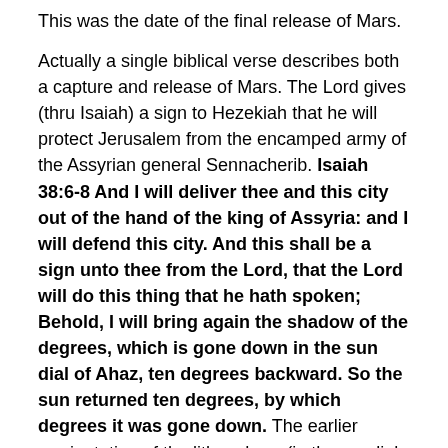This was the date of the final release of Mars.
Actually a single biblical verse describes both a capture and release of Mars. The Lord gives (thru Isaiah) a sign to Hezekiah that he will protect Jerusalem from the encamped army of the Assyrian general Sennacherib. Isaiah 38:6-8 And I will deliver thee and this city out of the hand of the king of Assyria: and I will defend this city. And this shall be a sign unto thee from the Lord, that the Lord will do this thing that he hath spoken; Behold, I will bring again the shadow of the degrees, which is gone down in the sun dial of Ahaz, ten degrees backward. So the sun returned ten degrees, by which degrees it was gone down. The earlier reorientation of the lithosphere (in the sundial of Ahaz) corresponded to the capture of Mars. The promised return was the release of Mars 14.4 years later. When